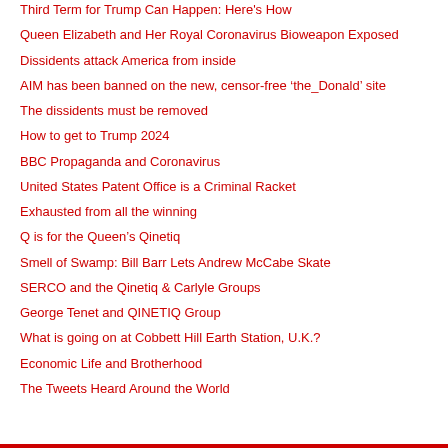Third Term for Trump Can Happen: Here's How
Queen Elizabeth and Her Royal Coronavirus Bioweapon Exposed
Dissidents attack America from inside
AIM has been banned on the new, censor-free ‘the_Donald’ site
The dissidents must be removed
How to get to Trump 2024
BBC Propaganda and Coronavirus
United States Patent Office is a Criminal Racket
Exhausted from all the winning
Q is for the Queen’s Qinetiq
Smell of Swamp: Bill Barr Lets Andrew McCabe Skate
SERCO and the Qinetiq & Carlyle Groups
George Tenet and QINETIQ Group
What is going on at Cobbett Hill Earth Station, U.K.?
Economic Life and Brotherhood
The Tweets Heard Around the World